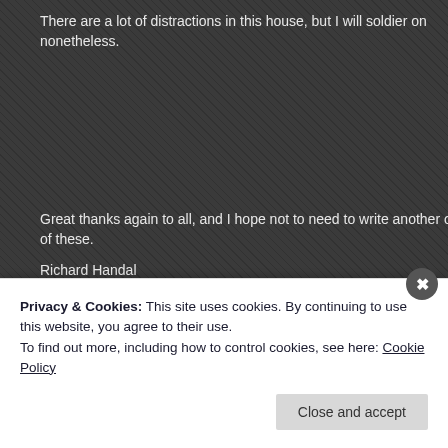There are a lot of distractions in this house, but I will soldier on nonetheless.
Great thanks again to all, and I hope not to need to write another one of these.
Richard Handal
Posted in Healthcare, Music, Personal, Piano, Tori Amos, Uplifting and/or spirit
Tagged authr, BE THE MUSIC, charity, christmas, frightened, gratitude, holiday, Johns Hopkins, Karen Sparks, live music, music, music teacher, piano, solo piano, songwriters, thanks, Tori Amos, Tori Amos book, voice, writing
Privacy & Cookies: This site uses cookies. By continuing to use this website, you agree to their use.
To find out more, including how to control cookies, see here: Cookie Policy
Close and accept